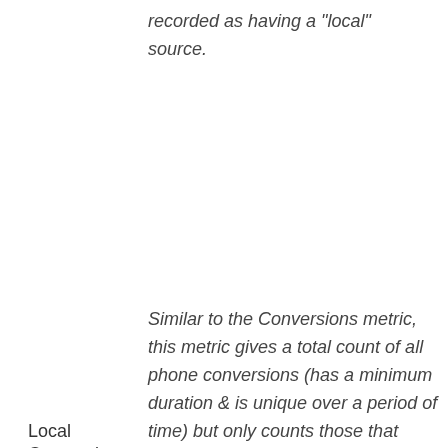recorded as having a "local" source.
Local Conversions
Similar to the Conversions metric, this metric gives a total count of all phone conversions (has a minimum duration & is unique over a period of time) but only counts those that have been recorded as having a "local" source.